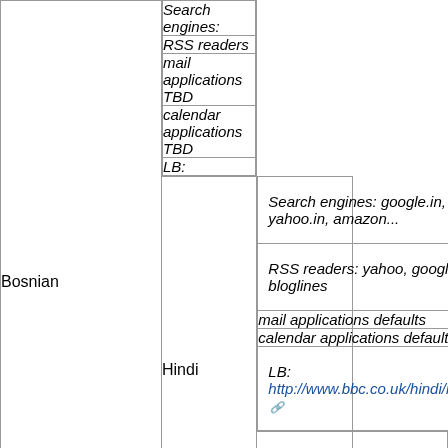| Language | Details |
| --- | --- |
| Bosnian | Search engines: |
| Bosnian | RSS readers |
| Bosnian | mail applications TBD |
| Bosnian | calendar applications TBD |
| Bosnian | LB: |
| Hindi | Search engines: google.in, yahoo.in, amazon... |
| Hindi | RSS readers: yahoo, google, no bloglines |
| Hindi | mail applications defaults |
| Hindi | calendar applications defaults |
| Hindi | LB: http://www.bbc.co.uk/hindi/index.xml |
|  | Search engines: google, yahoo-in, ebay-in, w... |